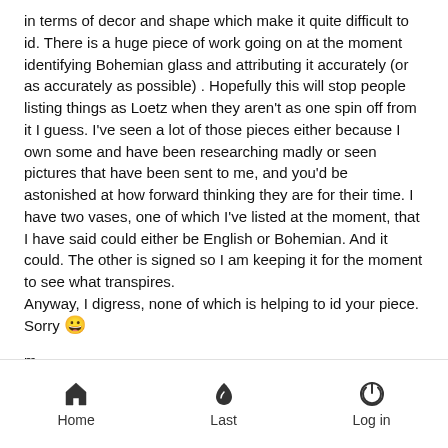in terms of decor and shape which make it quite difficult to id. There is a huge piece of work going on at the moment identifying Bohemian glass and attributing it accurately (or as accurately as possible) . Hopefully this will stop people listing things as Loetz when they aren't as one spin off from it I guess. I've seen a lot of those pieces either because I own some and have been researching madly or seen pictures that have been sent to me, and you'd be astonished at how forward thinking they are for their time. I have two vases, one of which I've listed at the moment, that I have said could either be English or Bohemian. And it could. The other is signed so I am keeping it for the moment to see what transpires.
Anyway, I digress, none of which is helping to id your piece. Sorry 🙂

m
[Figure (other): Scroll-to-top button (dark circle with upward chevron arrow) in a light grey area]
Home   Last   Log in